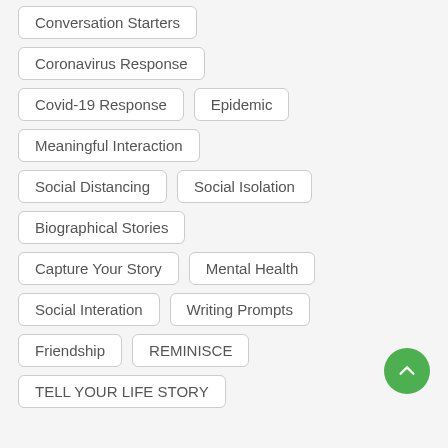Conversation Starters
Coronavirus Response
Covid-19 Response
Epidemic
Meaningful Interaction
Social Distancing
Social Isolation
Biographical Stories
Capture Your Story
Mental Health
Social Interation
Writing Prompts
Friendship
REMINISCE
TELL YOUR LIFE STORY